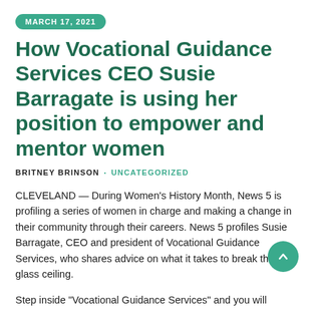MARCH 17, 2021
How Vocational Guidance Services CEO Susie Barragate is using her position to empower and mentor women
BRITNEY BRINSON · UNCATEGORIZED
CLEVELAND — During Women's History Month, News 5 is profiling a series of women in charge and making a change in their community through their careers. News 5 profiles Susie Barragate, CEO and president of Vocational Guidance Services, who shares advice on what it takes to break the glass ceiling.
Step inside "Vocational Guidance Services" and you will